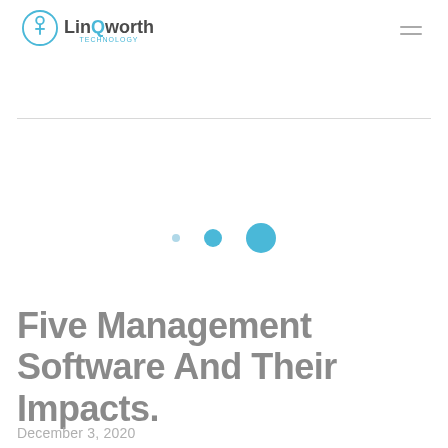LinQworth
[Figure (logo): LinQworth logo with circular icon containing a music note/Q symbol in cyan/teal color and stylized text 'LinQworth' with a cyan Q letter, and small cyan subtitle text below]
Five Management Software And Their Impacts.
December 3, 2020